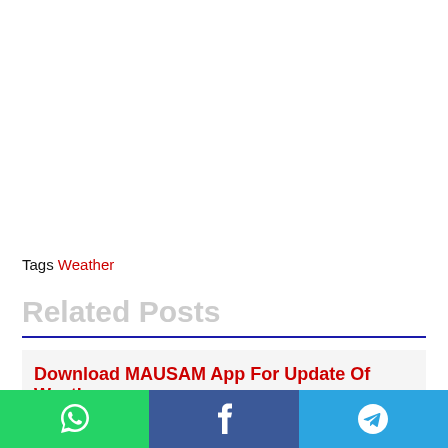Tags Weather
Related Posts
Download MAUSAM App For Update Of Weather
[Figure (infographic): Social sharing bar with WhatsApp (green), Facebook (blue), and Telegram (light blue) buttons with respective icons]